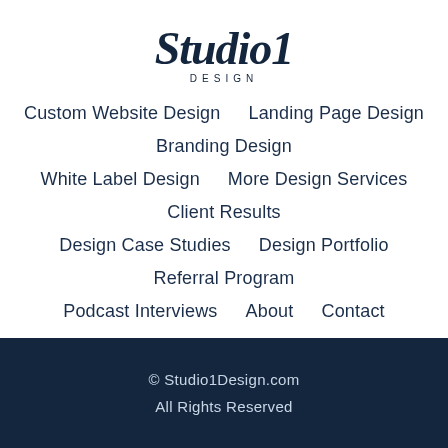[Figure (logo): Studio1 Design logo — stylized script 'Studio1' in dark navy above the word 'DESIGN' in spaced capitals]
Custom Website Design    Landing Page Design
Branding Design
White Label Design    More Design Services
Client Results
Design Case Studies    Design Portfolio
Referral Program
Podcast Interviews    About    Contact
© Studio1Design.com
All Rights Reserved